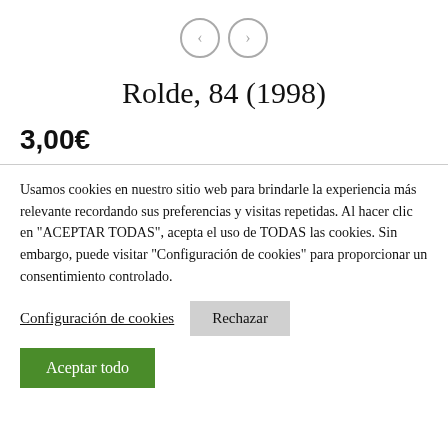[Figure (other): Navigation arrows: left chevron circle and right chevron circle]
Rolde, 84 (1998)
3,00€
Usamos cookies en nuestro sitio web para brindarle la experiencia más relevante recordando sus preferencias y visitas repetidas. Al hacer clic en "ACEPTAR TODAS", acepta el uso de TODAS las cookies. Sin embargo, puede visitar "Configuración de cookies" para proporcionar un consentimiento controlado.
Configuración de cookies
Rechazar
Aceptar todo